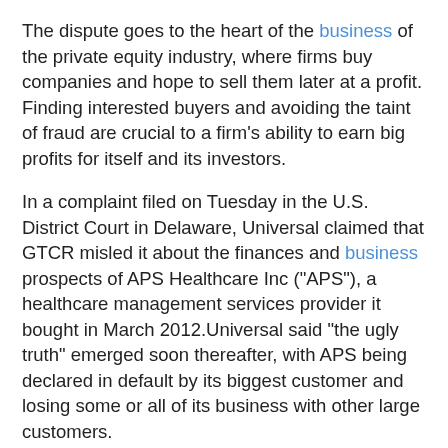The dispute goes to the heart of the business of the private equity industry, where firms buy companies and hope to sell them later at a profit. Finding interested buyers and avoiding the taint of fraud are crucial to a firm's ability to earn big profits for itself and its investors.
In a complaint filed on Tuesday in the U.S. District Court in Delaware, Universal claimed that GTCR misled it about the finances and business prospects of APS Healthcare Inc ("APS"), a healthcare management services provider it bought in March 2012.Universal said "the ugly truth" emerged soon thereafter, with APS being declared in default by its biggest customer and losing some or all of its business with other large customers.
"Defendants engaged in a deliberate campaign to conceal the truth about APS," Universal said. "The avalanche of bad news ... the complete evaporation of APS's income within months, and the sheer number of misrepresentations and omissions in the merger agreement ... are all telltale signs of fraud."
The lawsuit was filed just 16 hours after Partners Healthcare Solutions Holdings LP, the GTCR company that sold APS, filed its